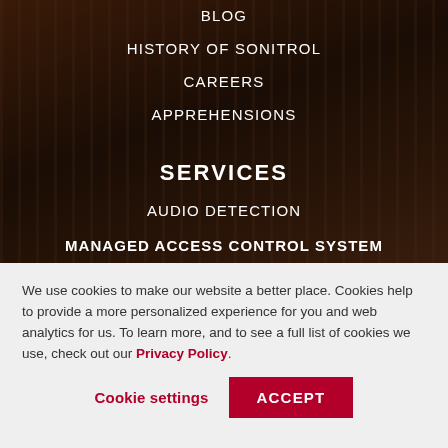BLOG
HISTORY OF SONITROL
CAREERS
APPREHENSIONS
SERVICES
AUDIO DETECTION
MANAGED ACCESS CONTROL SYSTEM
We use cookies to make our website a better place. Cookies help to provide a more personalized experience for you and web analytics for us. To learn more, and to see a full list of cookies we use, check out our Privacy Policy.
Cookie settings
ACCEPT